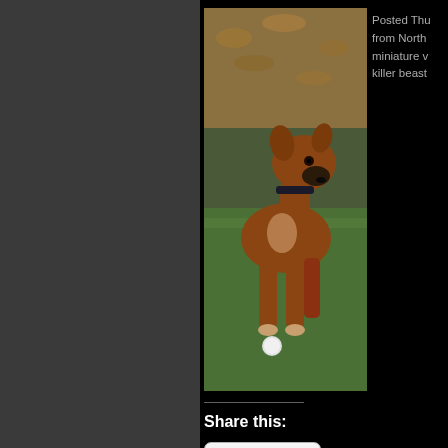[Figure (photo): A brown boxer puppy standing on grass with fallen leaves, wearing a dark collar, photographed outdoors.]
Posted Thu... from North... miniature v... killer beast...
Share this:
[Figure (other): Share button with share icon]
© 2011 Steve's Page